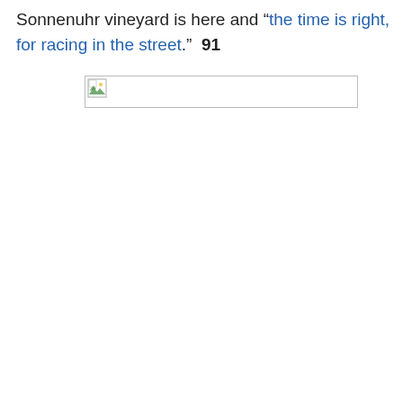Sonnenuhr vineyard is here and “the time is right, for racing in the street.”  91
[Figure (photo): Broken image placeholder (image failed to load), shown as a small icon with a border rectangle.]